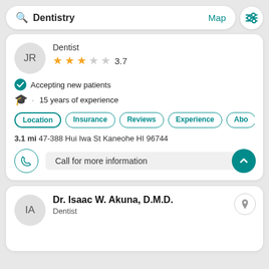[Figure (screenshot): Mobile app search bar with 'Dentistry' query text, Map link, and filter icon button]
Dentist
3.7 stars
Accepting new patients
15 years of experience
Location  Insurance  Reviews  Experience  Abo
3.1 mi 47-388 Hui Iwa St Kaneohe HI 96744
Call for more information
Dr. Isaac W. Akuna, D.M.D.
Dentist